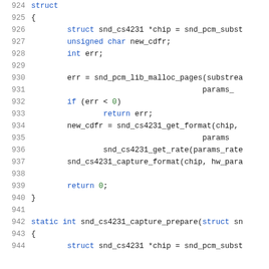[Figure (screenshot): C source code snippet showing lines 924-944 of a Linux kernel audio driver (snd_cs4231). Lines include struct definition, variable declarations, snd_pcm_lib_malloc_pages call, error handling, format/rate/capture format calls, return 0, closing brace, and start of snd_cs4231_capture_prepare function.]